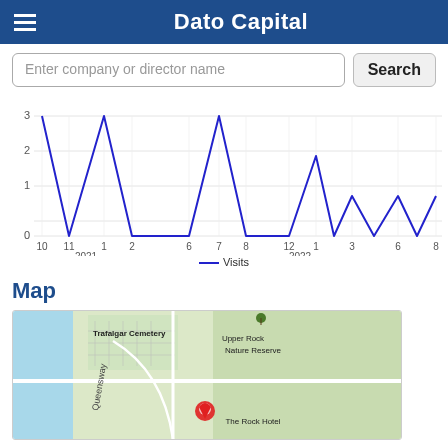Dato Capital
[Figure (line-chart): ]
— Visits
Map
[Figure (map): Map showing location near Trafalgar Cemetery and Upper Rock Nature Reserve, Gibraltar. Red pin marker near The Rock Hotel on Queensway.]